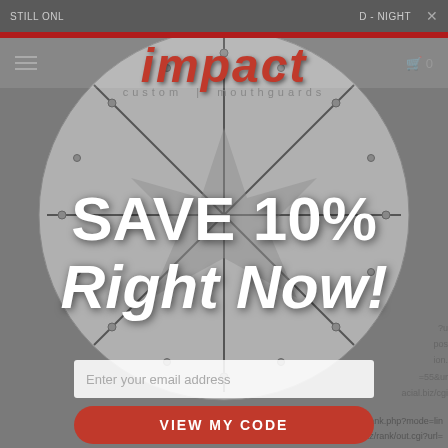STILL ONL... | ...D - NIGHT
[Figure (logo): Impact Custom Mouthguards logo — red distressed italic bold text 'impact' with subtitle 'custom mouthguards']
SAVE 10% Right Now!
Enter your email address
VIEW MY CODE
http... ...ank.php?mode=lin
http://kinnyuu.biz/rank/out.cgi?url=